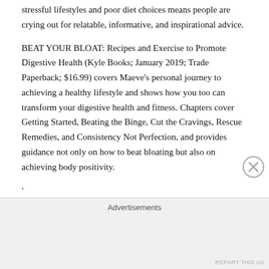stressful lifestyles and poor diet choices means people are crying out for relatable, informative, and inspirational advice.
BEAT YOUR BLOAT: Recipes and Exercise to Promote Digestive Health (Kyle Books; January 2019; Trade Paperback; $16.99) covers Maeve's personal journey to achieving a healthy lifestyle and shows how you too can transform your digestive health and fitness. Chapters cover Getting Started, Beating the Binge, Cut the Cravings, Rescue Remedies, and Consistency Not Perfection, and provides guidance not only on how to beat bloating but also on achieving body positivity.
.
What do you still need to get this year?
Advertisements